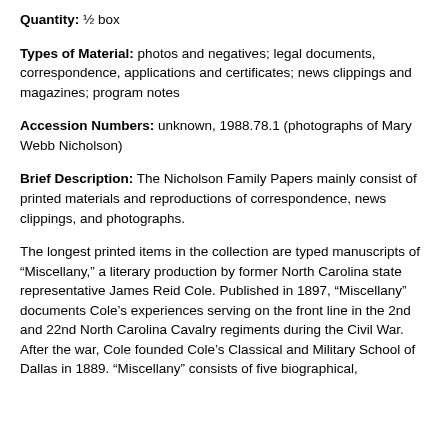Quantity: ½ box
Types of Material: photos and negatives; legal documents, correspondence, applications and certificates; news clippings and magazines; program notes
Accession Numbers: unknown, 1988.78.1 (photographs of Mary Webb Nicholson)
Brief Description: The Nicholson Family Papers mainly consist of printed materials and reproductions of correspondence, news clippings, and photographs.
The longest printed items in the collection are typed manuscripts of “Miscellany,” a literary production by former North Carolina state representative James Reid Cole. Published in 1897, “Miscellany” documents Cole’s experiences serving on the front line in the 2nd and 22nd North Carolina Cavalry regiments during the Civil War. After the war, Cole founded Cole’s Classical and Military School of Dallas in 1889. “Miscellany” consists of five biographical,